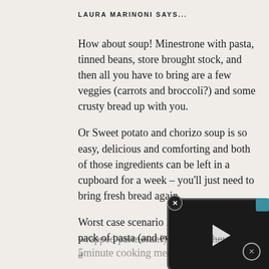LAURA MARINONI SAYS...
How about soup! Minestrone with pasta, tinned beans, store brought stock, and then all you have to bring are a few veggies (carrots and broccoli?) and some crusty bread up with you.
Or Sweet potato and chorizo soup is so easy, delicious and comforting and both of those ingredients can be left in a cupboard for a week – you'll just need to bring fresh bread again..
Worst case scenario leave a pack of pasta (and even so
[Figure (screenshot): A video player overlay with a play button, close button, and teal accent, overlaid on the article text.]
wrapped parmesan!) there and hey presto a 5minute cooking meal awaits when you